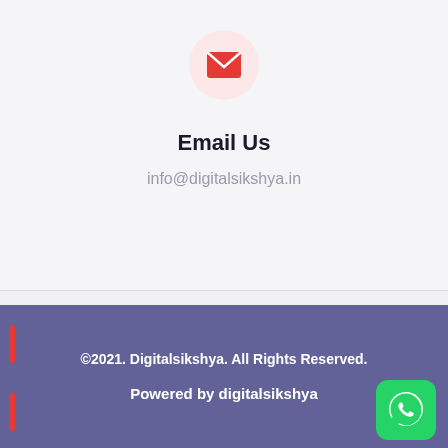[Figure (illustration): Email envelope icon in red inside a light pink/red circular background]
Email Us
info@digitalsikshya.in
©2021. Digitalsikshya. All Rights Reserved.
Powered by digitalsikshya